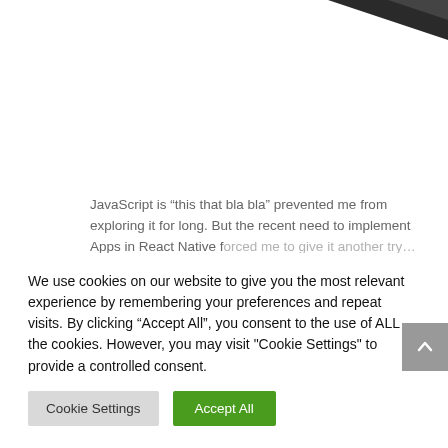[Figure (photo): Dark triangular image element in top-right corner]
JavaScript is “this that bla bla” prevented me from exploring it for long. But the recent need to implement Apps in React Native f…
We use cookies on our website to give you the most relevant experience by remembering your preferences and repeat visits. By clicking “Accept All”, you consent to the use of ALL the cookies. However, you may visit "Cookie Settings" to provide a controlled consent.
Cookie Settings
Accept All